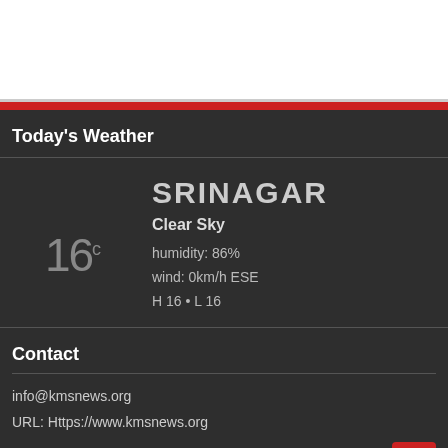Today's Weather
[Figure (infographic): Weather widget showing moon icon, temperature 16°C for Srinagar with Clear Sky, humidity 86%, wind 0km/h ESE, H 16 • L 16]
Contact
info@kmsnews.org
URL: Https://www.kmsnews.org
Follow on Twitter